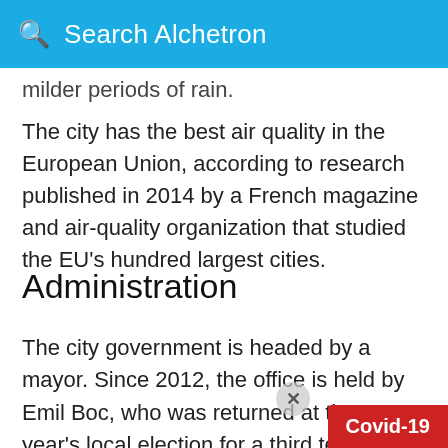Search Alchetron
milder periods of rain.
The city has the best air quality in the European Union, according to research published in 2014 by a French magazine and air-quality organization that studied the EU's hundred largest cities.
Administration
The city government is headed by a mayor. Since 2012, the office is held by Emil Boc, who was returned at that year's local election for a third term, having resigned in 2008 to become Prime Minister. Decisions are approved and discussed by the local government (consiliu local) made up of 2... councillors. The city is divided into 5 districts.